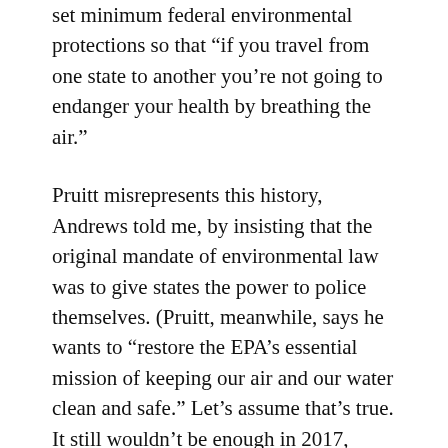set minimum federal environmental protections so that “if you travel from one state to another you’re not going to endanger your health by breathing the air.”
Pruitt misrepresents this history, Andrews told me, by insisting that the original mandate of environmental law was to give states the power to police themselves. (Pruitt, meanwhile, says he wants to “restore the EPA’s essential mission of keeping our air and our water clean and safe.” Let’s assume that’s true. It still wouldn’t be enough in 2017, when climate change is an overarching concern.)
The EPA was cobbled together from other